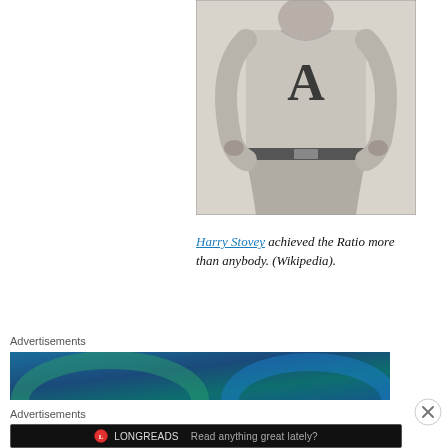[Figure (photo): Black and white photograph of Harry Stovey in a baseball uniform with letter A on chest, hands on hips, cropped at torso level.]
Harry Stovey achieved the Ratio more than anybody. (Wikipedia).
Advertisements
[Figure (other): Blue-green gradient advertisement banner.]
Advertisements
[Figure (other): Longreads advertisement banner with text: Read anything great lately?]